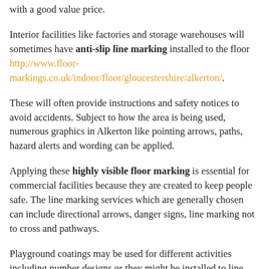with a good value price.
Interior facilities like factories and storage warehouses will sometimes have anti-slip line marking installed to the floor http://www.floor-markings.co.uk/indoor/floor/gloucestershire/alkerton/.
These will often provide instructions and safety notices to avoid accidents. Subject to how the area is being used, numerous graphics in Alkerton like pointing arrows, paths, hazard alerts and wording can be applied.
Applying these highly visible floor marking is essential for commercial facilities because they are created to keep people safe. The line marking services which are generally chosen can include directional arrows, danger signs, line marking not to cross and pathways.
Playground coatings may be used for different activities including number designs or they might be installed to line sports pitches including tennis.